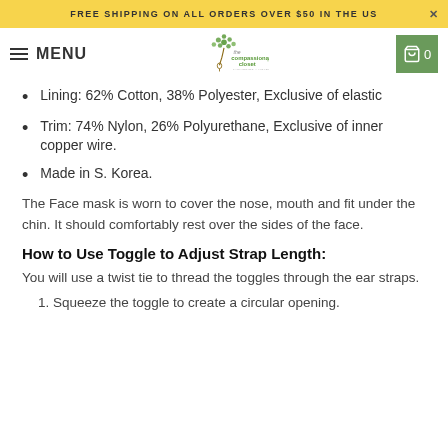FREE SHIPPING ON ALL ORDERS OVER $50 IN THE US
[Figure (logo): The Compassionate Closet logo with tree icon and tagline 'FASHIONING A MOVEMENT']
Lining: 62% Cotton, 38% Polyester, Exclusive of elastic
Trim: 74% Nylon, 26% Polyurethane, Exclusive of inner copper wire.
Made in S. Korea.
The Face mask is worn to cover the nose, mouth and fit under the chin. It should comfortably rest over the sides of the face.
How to Use Toggle to Adjust Strap Length:
You will use a twist tie to thread the toggles through the ear straps.
1. Squeeze the toggle to create a circular opening.